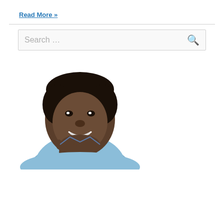Read More »
[Figure (photo): A smiling young Black man in a light blue shirt, hand on chin in a thoughtful pose, photographed against a white background.]